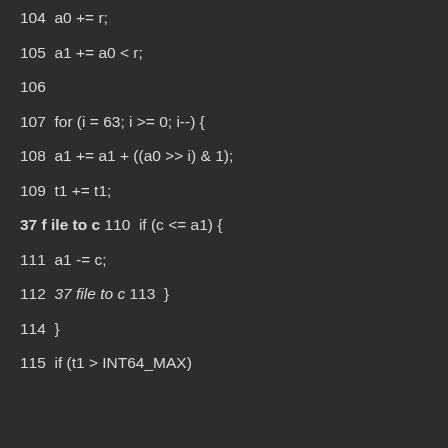104  a0 += r;
105  a1 += a0 < r;
106
107  for (i = 63; i >= 0; i--) {
108  a1 += a1 + ((a0 >> i) & 1);
109  t1 += t1;
37 f ile to c  110  if (c <= a1) {
111  a1 -= c;
112  37 file to c 113  }
114  }
115  if (t1 > INT64_MAX)